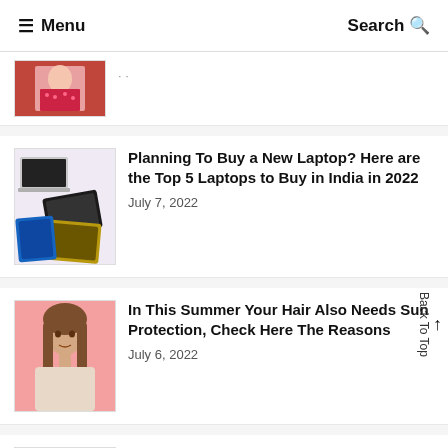Menu | Search
[Figure (photo): Partial article thumbnail - woman in red dress]
[Figure (photo): Laptops and tablets on pink background]
Planning To Buy a New Laptop? Here are the Top 5 Laptops to Buy in India in 2022
July 7, 2022
[Figure (photo): Woman with long hair on pink background]
In This Summer Your Hair Also Needs Sun Protection, Check Here The Reasons
July 6, 2022
[Figure (photo): Runner with NNER LAR text overlay, GPS smartwatch]
World's First GPS Running Smartwatch With Solar Charging Launched In India
July 1, 2022